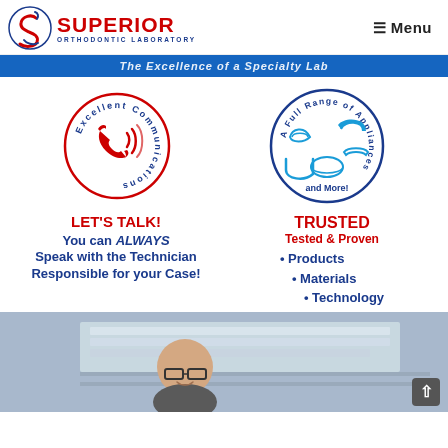[Figure (logo): Superior Orthodontic Laboratory logo with stylized S icon in blue and red]
≡ Menu
The Excellence of a Specialty Lab
[Figure (illustration): Circular badge with phone icon and text 'Excellent Communications']
[Figure (illustration): Circular badge with dental appliances icons and text 'A Full Range of Appliances and More!']
LET'S TALK! You can ALWAYS Speak with the Technician Responsible for your Case!
TRUSTED Tested & Proven • Products • Materials • Technology
[Figure (photo): Photo of a smiling man with glasses in a laboratory setting]